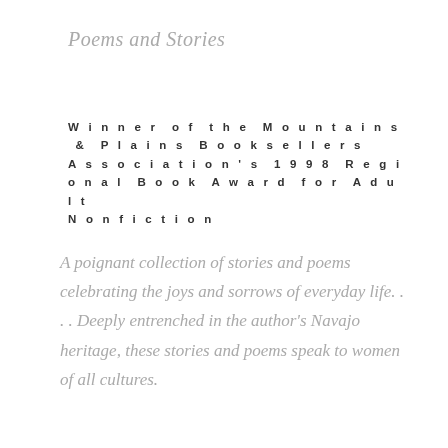Poems and Stories
Winner of the Mountains & Plains Booksellers Association's 1998 Regional Book Award for Adult Nonfiction
A poignant collection of stories and poems celebrating the joys and sorrows of everyday life. . . . Deeply entrenched in the author's Navajo heritage, these stories and poems speak to women of all cultures.
LIBRARY JOURNAL
[Figure (other): Pagination dots: four circles in a row, first one filled/dark, rest are outlines]
[Figure (photo): Colorful book cover image with orange top border and blue/multicolor abstract art below, partially cropped at bottom of page]